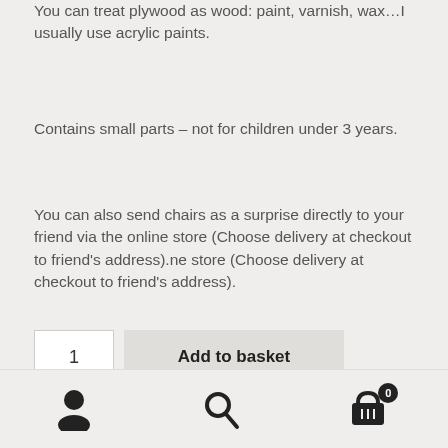You can treat plywood as wood: paint, varnish, wax…I usually use acrylic paints.
Contains small parts – not for children under 3 years.
You can also send chairs as a surprise directly to your friend via the online store (Choose delivery at checkout to friend's address).ne store (Choose delivery at checkout to friend's address).
1  Add to basket
Categories: Dollhouses, dollhouse furniture and what else !,
User icon | Search icon | Basket icon (0)